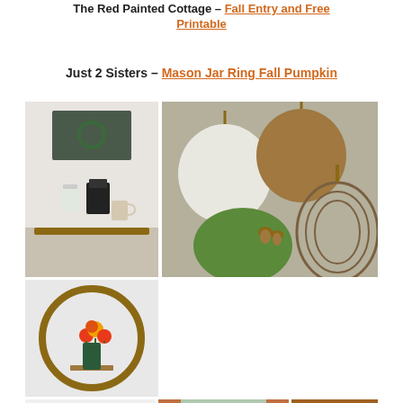The Red Painted Cottage – Fall Entry and Free Printable
Just 2 Sisters – Mason Jar Ring Fall Pumpkin
[Figure (photo): Collage of fall decoration images: coffee bar shelf, flower arrangement in circular frame, autumn word art sign, front door with wreath, mason jar ring pumpkins on burlap, and orange pumpkin photo]